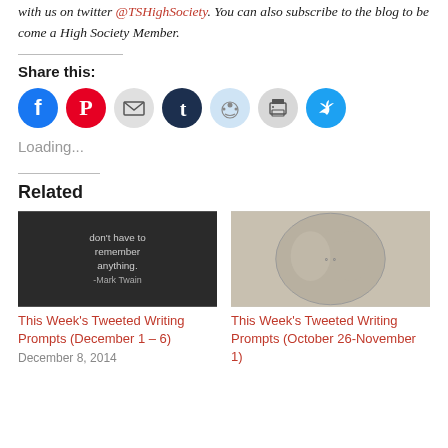with us on twitter @TSHighSociety. You can also subscribe to the blog to be come a High Society Member.
Share this:
[Figure (infographic): Social share buttons: Facebook (blue), Pinterest (red), Email (gray), Tumblr (dark navy), Reddit (light blue), Print (gray), Twitter (cyan blue)]
Loading...
Related
[Figure (photo): Black and white photo with Mark Twain quote: don't have to remember anything. -Mark Twain]
This Week's Tweeted Writing Prompts (December 1 – 6)
December 8, 2014
[Figure (photo): Close-up photo of an ancient coin showing two faces in profile]
This Week's Tweeted Writing Prompts (October 26-November 1)